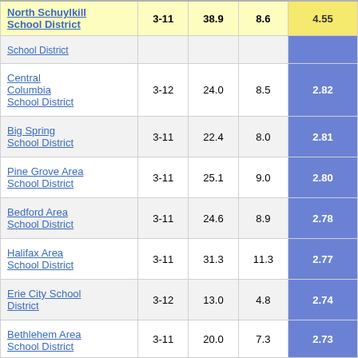| School District | Grades | Col3 | Col4 | Score |
| --- | --- | --- | --- | --- |
| North Schuylkill School District | 3-11 | 38.9 | 8.6 | 4.55 |
| [partial row] |  |  |  |  |
| Central Columbia School District | 3-12 | 24.0 | 8.5 | 2.82 |
| Big Spring School District | 3-11 | 22.4 | 8.0 | 2.81 |
| Pine Grove Area School District | 3-11 | 25.1 | 9.0 | 2.80 |
| Bedford Area School District | 3-11 | 24.6 | 8.9 | 2.78 |
| Halifax Area School District | 3-11 | 31.3 | 11.3 | 2.77 |
| Erie City School District | 3-12 | 13.0 | 4.8 | 2.74 |
| Bethlehem Area School District | 3-11 | 20.0 | 7.3 | 2.73 |